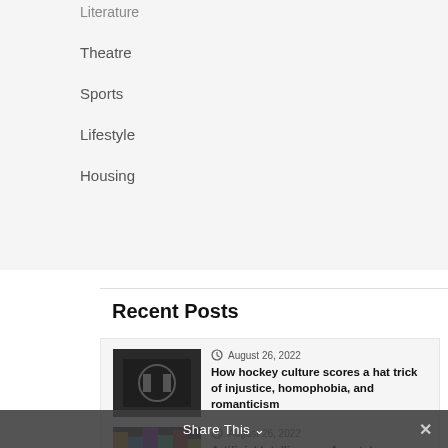Literature
Theatre
Sports
Lifestyle
Housing
Recent Posts
August 26, 2022
How hockey culture scores a hat trick of injustice, homophobia, and romanticism
August 26, 2022
Artificial Intelligence: A crutch
Share This